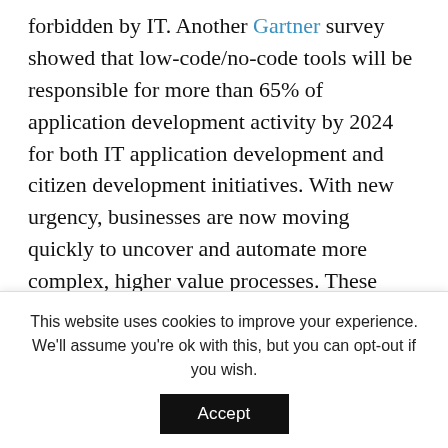forbidden by IT. Another Gartner survey showed that low-code/no-code tools will be responsible for more than 65% of application development activity by 2024 for both IT application development and citizen development initiatives. With new urgency, businesses are now moving quickly to uncover and automate more complex, higher value processes. These important processes often touch customers and inevitably involve unstructured content flowing through them, which must be intelligently processed.

Turning to low-code and no-code platforms will make it easier for users who report to a business unit or function (the...
This website uses cookies to improve your experience. We'll assume you're ok with this, but you can opt-out if you wish.
Accept